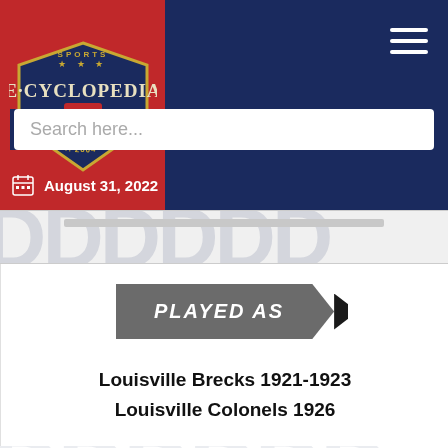[Figure (logo): Sports E-Cyclopedia logo on red background]
August 31, 2022
PLAYED AS
Louisville Brecks 1921-1923
Louisville Colonels 1926